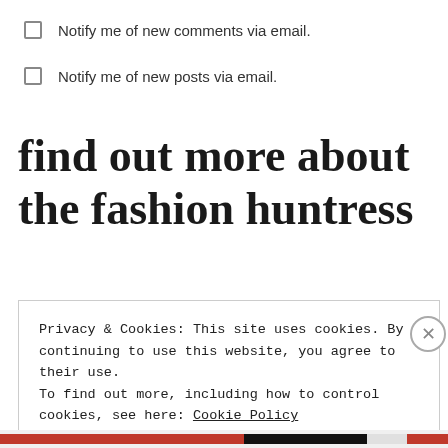Notify me of new comments via email.
Notify me of new posts via email.
find out more about the fashion huntress
Privacy & Cookies: This site uses cookies. By continuing to use this website, you agree to their use.
To find out more, including how to control cookies, see here: Cookie Policy
Close and accept